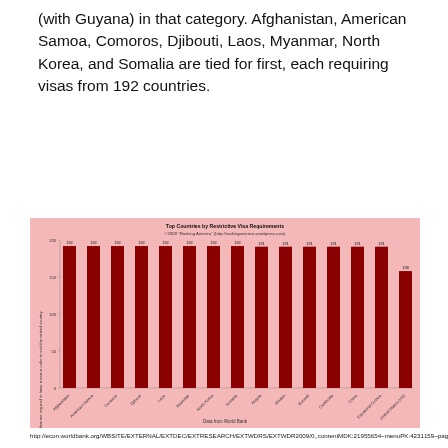(with Guyana) in that category. Afghanistan, American Samoa, Comoros, Djibouti, Laos, Myanmar, North Korea, and Somalia are tied for first, each requiring visas from 192 countries.
[Figure (bar-chart): Top Countries by Restrictive Visa Requirements]
http://econ.worldbank.org/WBSITE/EXTERNAL/EXTDEC/EXTRESEARCH/EXTWDRS/EXTWDR2009/0,,contentMDK:21955654~menuPK:4231159~pagePK:64167689~piPK:64167673~theSitePK:4231059,00.html